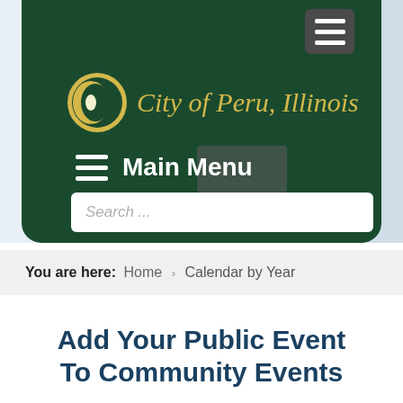[Figure (screenshot): City of Peru, Illinois municipal website header with dark green navigation bar, city logo, Main Menu button, and search field]
You are here: Home > Calendar by Year
Add Your Public Event To Community Events